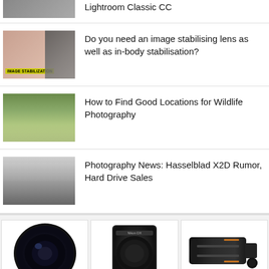[Figure (photo): Thumbnail for Lightroom Classic CC article (partially visible at top)]
Lightroom Classic CC
[Figure (photo): Thumbnail showing image stabilization example with woman's eyes and man, yellow IMAGE STABILIZATION label]
Do you need an image stabilising lens as well as in-body stabilisation?
[Figure (photo): Thumbnail showing wildlife/nature scene with birds over water and green reeds]
How to Find Good Locations for Wildlife Photography
[Figure (photo): Black and white thumbnail showing birds flying over water with people]
Photography News: Hasselblad X2D Rumor, Hard Drive Sales
[Figure (photo): Product image of wide angle camera lens adapter]
[Figure (photo): Product image of Nikon DX camera lens]
[Figure (photo): Product image of telephoto camera lens]